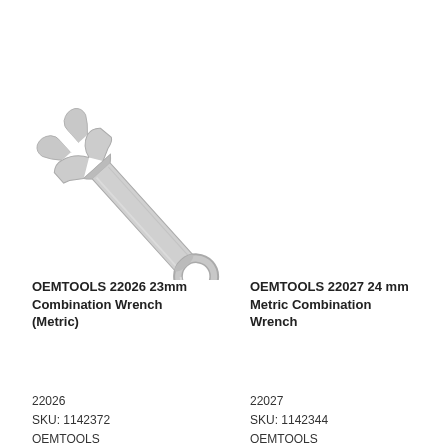[Figure (photo): Photograph of a silver metallic combination wrench (open-end and box-end), oriented diagonally from upper-left to lower-right on a white background]
OEMTOOLS 22026 23mm Combination Wrench (Metric)
OEMTOOLS 22027 24 mm Metric Combination Wrench
22026
SKU: 1142372
OEMTOOLS
22027
SKU: 1142344
OEMTOOLS